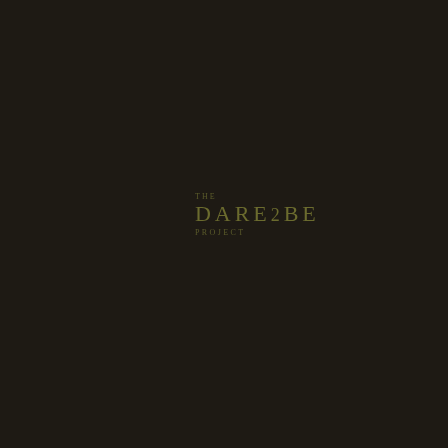[Figure (logo): The Dare2Be Project logo centered slightly left of center on a dark brown/near-black background. Text reads 'THE' in small caps on top line, 'DARE2BE' in large spaced capitals on middle line, 'PROJECT' in small caps on bottom line. All text in muted olive/khaki green color.]